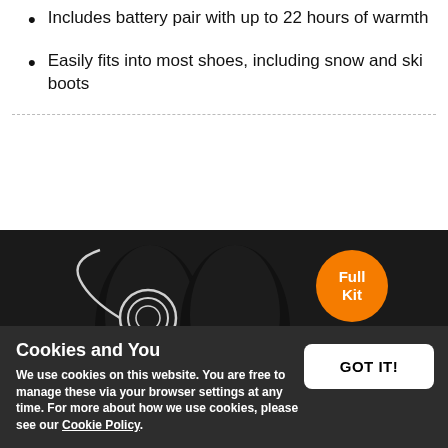Includes battery pair with up to 22 hours of warmth
Easily fits into most shoes, including snow and ski boots
[Figure (photo): Product photo of heated insoles (full kit) with wires and battery pack on dark background, with orange 'Full Kit' badge overlay]
Cookies and You
We use cookies on this website. You are free to manage these via your browser settings at any time. For more about how we use cookies, please see our Cookie Policy.
GOT IT!
Thermic Insole Heat Kit with C-Pack